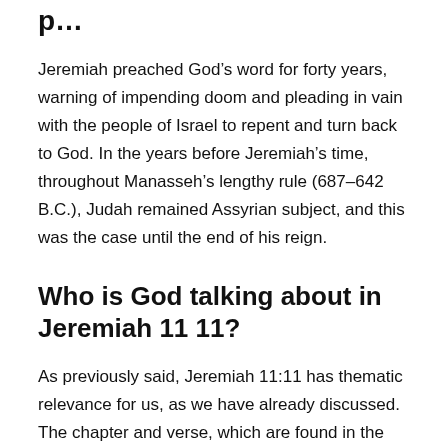p…
Jeremiah preached God’s word for forty years, warning of impending doom and pleading in vain with the people of Israel to repent and turn back to God. In the years before Jeremiah’s time, throughout Manasseh’s lengthy rule (687–642 B.C.), Judah remained Assyrian subject, and this was the case until the end of his reign.
Who is God talking about in Jeremiah 11 11?
As previously said, Jeremiah 11:11 has thematic relevance for us, as we have already discussed. The chapter and verse, which are found in the Old Testament of the Bible, alludes to God’s anger towards the Jews for